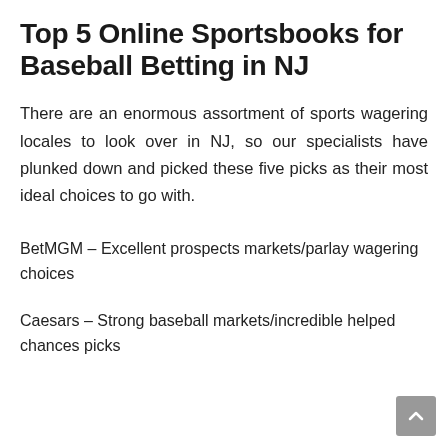Top 5 Online Sportsbooks for Baseball Betting in NJ
There are an enormous assortment of sports wagering locales to look over in NJ, so our specialists have plunked down and picked these five picks as their most ideal choices to go with.
BetMGM – Excellent prospects markets/parlay wagering choices
Caesars – Strong baseball markets/incredible helped chances picks